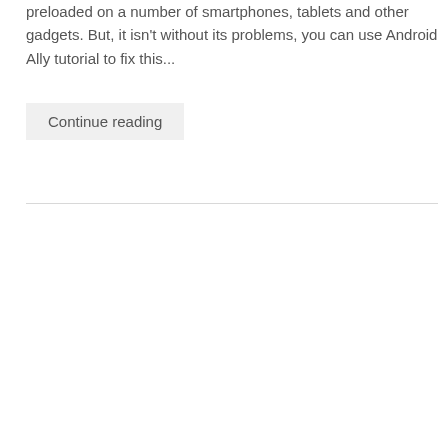preloaded on a number of smartphones, tablets and other gadgets. But, it isn't without its problems, you can use Android Ally tutorial to fix this...
Continue reading